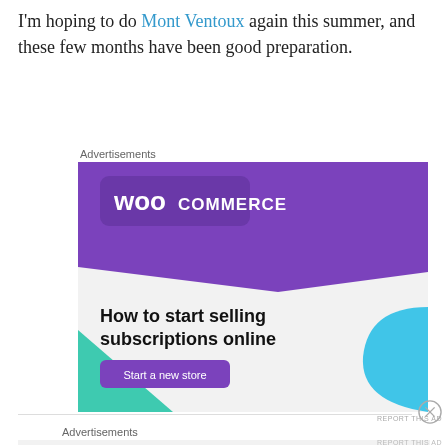I'm hoping to do Mont Ventoux again this summer, and these few months have been good preparation.
Advertisements
[Figure (illustration): WooCommerce advertisement banner. Purple top band with WooCommerce logo (speech bubble icon with 'woo' text and 'COMMERCE' label). Green triangle decorative shape lower left. Blue curved shape lower right. Text reads 'How to start selling subscriptions online' with a purple 'Start a new store' button. Light gray background.]
REPORT THIS AD
Advertisements